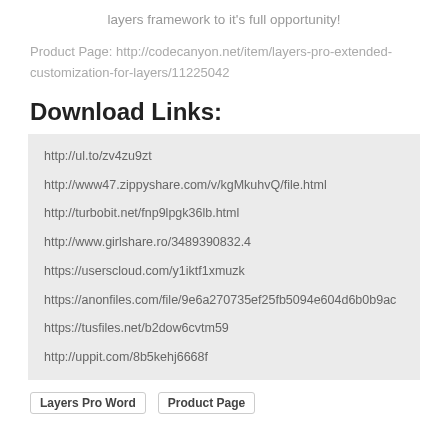layers framework to it's full opportunity!
Product Page: http://codecanyon.net/item/layers-pro-extended-customization-for-layers/11225042
Download Links:
http://ul.to/zv4zu9zt
http://www47.zippyshare.com/v/kgMkuhvQ/file.html
http://turbobit.net/fnp9lpgk36lb.html
http://www.girlshare.ro/3489390832.4
https://userscloud.com/y1iktf1xmuzk
https://anonfiles.com/file/9e6a270735ef25fb5094e604d6b0b9ac
https://tusfiles.net/b2dow6cvtm59
http://uppit.com/8b5kehj6668f
Layers Pro Word   Product Page